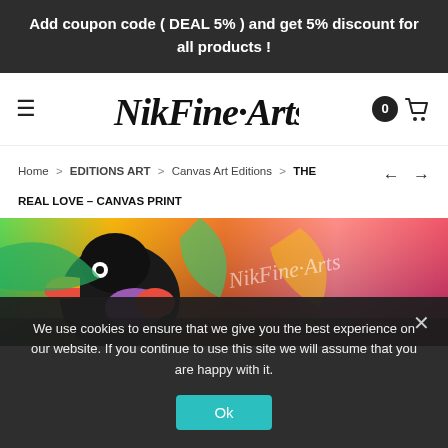Add coupon code ( DEAL 5% ) and get 5% discount for all products !
[Figure (logo): NikFine Arts handwritten logo with hamburger menu icon and shopping cart showing 0 items]
Home > EDITIONS ART > Canvas Art Editions > THE REAL LOVE – CANVAS PRINT
[Figure (photo): Colorful canvas print artwork featuring a toucan bird with vivid tropical colors - reds, greens, yellows, purples, and pinks with NikFine Arts watermark]
We use cookies to ensure that we give you the best experience on our website. If you continue to use this site we will assume that you are happy with it.